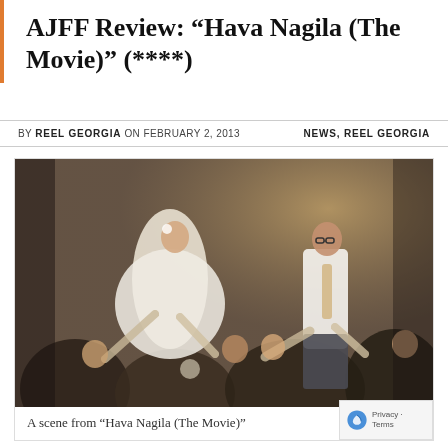AJFF Review: “Hava Nagila (The Movie)” (****)
BY REEL GEORGIA ON FEBRUARY 2, 2013    NEWS, REEL GEORGIA
[Figure (photo): A wedding scene with a bride in a white dress and groom in a white shirt and tan tie being lifted on chairs by guests in a brick-walled venue, with people celebrating around them.]
A scene from “Hava Nagila (The Movie)”